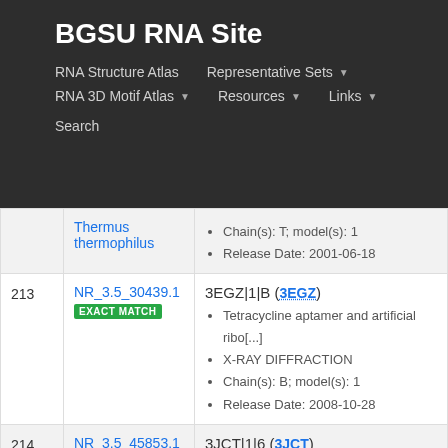BGSU RNA Site
RNA Structure Atlas | Representative Sets ▾ | RNA 3D Motif Atlas ▾ | Resources ▾ | Links ▾ | Search
| # | Equivalence Class | Representative |
| --- | --- | --- |
|  | Thermus thermophilus (link) | X-RAY DIFFRACTION
Chain(s): T; model(s): 1
Release Date: 2001-06-18 |
| 213 | NR_3.5_30439.1
EXACT MATCH | 3EGZ|1|B (3EGZ)
Tetracycline aptamer and artificial ribo[...]
X-RAY DIFFRACTION
Chain(s): B; model(s): 1
Release Date: 2008-10-28 |
| 214 | NR_3.5_45853.1
EXACT MATCH
Saccharomyces cerevisiae | 3JCT|1|6 (3JCT)
ITS2-1 miscRNA
ELECTRON MICROSCOPY
Chain(s): 6; model(s): 1
Release Date: 2016-06-01 |